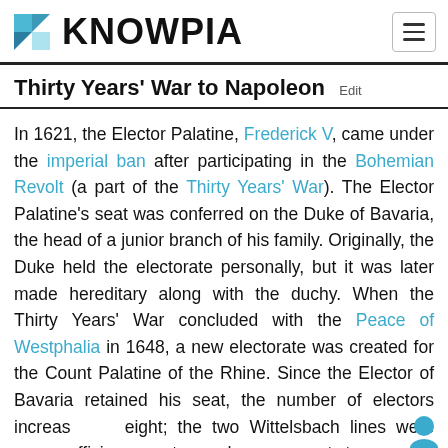KNOWPIA
Thirty Years' War to Napoleon  Edit
In 1621, the Elector Palatine, Frederick V, came under the imperial ban after participating in the Bohemian Revolt (a part of the Thirty Years' War). The Elector Palatine's seat was conferred on the Duke of Bavaria, the head of a junior branch of his family. Originally, the Duke held the electorate personally, but it was later made hereditary along with the duchy. When the Thirty Years' War concluded with the Peace of Westphalia in 1648, a new electorate was created for the Count Palatine of the Rhine. Since the Elector of Bavaria retained his seat, the number of electors increased to eight; the two Wittelsbach lines were now sufficiently estranged so as not to pose a combined potential